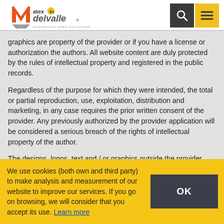[Figure (logo): Atex Delvalle logo with orange M shape, gray checkmark, HAZARDOUS AREA SOLUTIONS text]
graphics are property of the provider or if you have a license or authorization the authors. All website content are duly protected by the rules of intellectual property and registered in the public records.
Regardless of the purpose for which they were intended, the total or partial reproduction, use, exploitation, distribution and marketing, in any case requires the prior written consent of the provider. Any previously authorized by the provider application will be considered a serious breach of the rights of intellectual property of the author.
The designs, logos, text and / or graphics outside the provider,
We use cookies (both own and third party) to make analysis and measurement of our website to improve our services. If you go on browsing, we will consider that you accept its use. Learn more